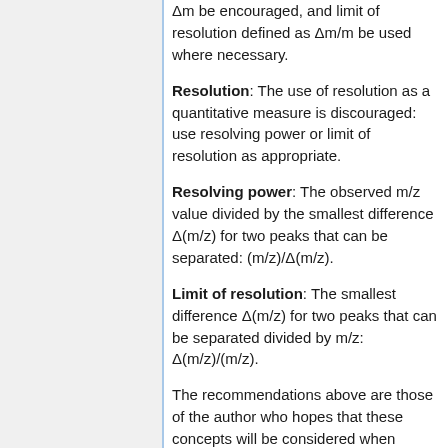Δm be encouraged, and limit of resolution defined as Δm/m be used where necessary.
Resolution: The use of resolution as a quantitative measure is discouraged: use resolving power or limit of resolution as appropriate.
Resolving power: The observed m/z value divided by the smallest difference Δ(m/z) for two peaks that can be separated: (m/z)/Δ(m/z).
Limit of resolution: The smallest difference Δ(m/z) for two peaks that can be separated divided by m/z: Δ(m/z)/(m/z).
The recommendations above are those of the author who hopes that these concepts will be considered when developing the next list of terminology.